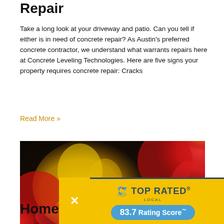Repair
Take a long look at your driveway and patio. Can you tell if either is in need of concrete repair? As Austin's preferred concrete contractor, we understand what warrants repairs here at Concrete Leveling Technologies. Here are five signs your property requires concrete repair: Cracks
Read More »
[Figure (photo): Close-up photo of colorful tulips — red and yellow flowers with blurred background]
[Figure (infographic): Top Rated Local badge overlay: yellow background with dark blue border, bird logo, 'TOP RATED' text, 'LOCAL' subtitle, and '83.7 Rating Score TM' in a blue pill badge. An X close button appears to the left.]
Home Impr…